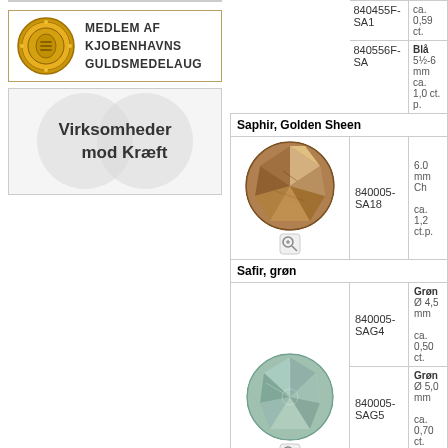[Figure (logo): Medlem af Kjobenhavns Guldsmedelaug gold seal logo with text]
[Figure (logo): Virksomheder mod Kræft logo with grey double-circle background]
| Image | Item No. | Description |
| --- | --- | --- |
|  | 840455F-SA1 | ca. 0,59 ct. |
|  | 840556F-SA | Blå
5½-6 mm
ca. 1,0 ct. p. |
| [Golden Sheen Sapphire image] | 840005-SA18 | Saphir, Golden Sheen
6.0 mm Ch
ca. 1,2 ct.p. |
| [Green Sapphire image] | 840005-SAG4 | Safir, grøn
Grøn
Ø 4,5 mm
ca. 0,50 ct. |
|  | 840005-SAG5 | Grøn
Ø 5,0 mm
ca. 0,70 ct. |
|  | 840005-SAG6 | Grøn
Ø 6,0 mm
ca. 1,15 ct. |
| [Yellow-green Sapphire image] |  | Saphir, grün |